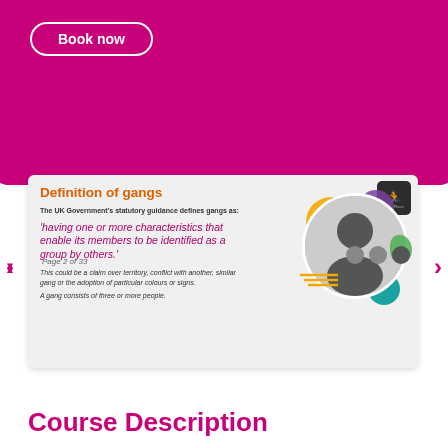[Figure (illustration): Magenta/pink curved banner background at top of page]
Book now
[Figure (screenshot): Course slide showing 'Definition of gangs' with text and circular illustrated image of a person with colorful graphic elements]
Definition of gangs
The UK Government's statutory guidance defines gangs as:
'having one or more characteristics that enable its members to be identified as a group by others.'
This could be a claim over territory, conflict with another, similar gang or the adoption of particular colours or signs.
A gang consists of three or more people.
Page 2 of 33
Course Description